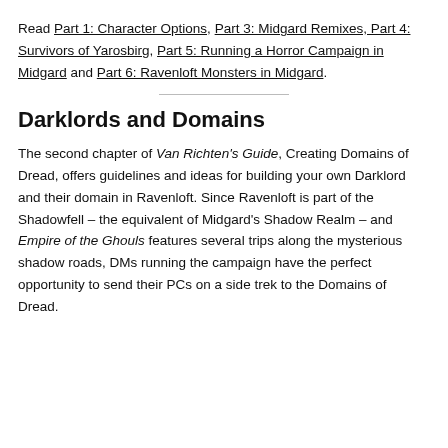Read Part 1: Character Options, Part 3: Midgard Remixes, Part 4: Survivors of Yarosbirg, Part 5: Running a Horror Campaign in Midgard and Part 6: Ravenloft Monsters in Midgard.
Darklords and Domains
The second chapter of Van Richten's Guide, Creating Domains of Dread, offers guidelines and ideas for building your own Darklord and their domain in Ravenloft. Since Ravenloft is part of the Shadowfell – the equivalent of Midgard's Shadow Realm – and Empire of the Ghouls features several trips along the mysterious shadow roads, DMs running the campaign have the perfect opportunity to send their PCs on a side trek to the Domains of Dread.